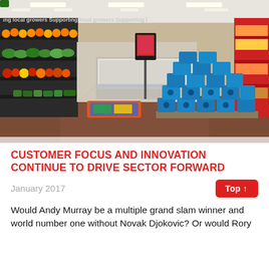[Figure (photo): Interior of a supermarket showing produce aisles with colorful fruits and vegetables on shelves to the left, refrigerated deli/meat counters in the background center, and a large pallet display of blue packaged products in the foreground. Signs on the left read 'Supporting local growers'. Red promotional display on the right side.]
CUSTOMER FOCUS AND INNOVATION CONTINUE TO DRIVE SECTOR FORWARD
January 2017
Top ↑
Would Andy Murray be a multiple grand slam winner and world number one without Novak Djokovic? Or would Rory